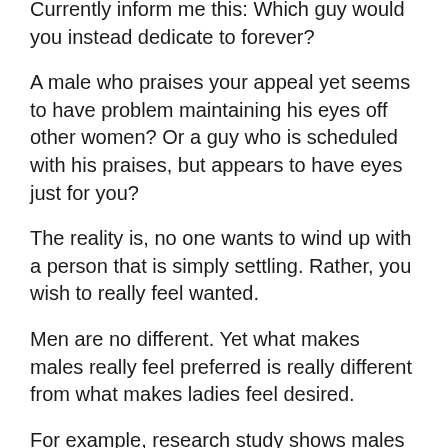Currently inform me this: Which guy would you instead dedicate to forever?
A male who praises your appeal yet seems to have problem maintaining his eyes off other women? Or a guy who is scheduled with his praises, but appears to have eyes just for you?
The reality is, no one wants to wind up with a person that is simply settling. Rather, you wish to really feel wanted.
Men are no different. Yet what makes males really feel preferred is really different from what makes ladies feel desired.
For example, research study shows males